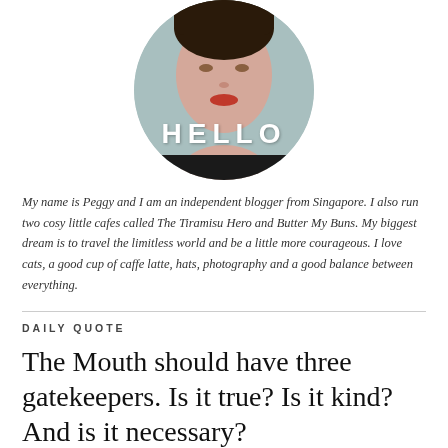[Figure (photo): Circular profile photo of a woman with red lips, overlaid with the word HELLO in bold white capital letters with wide letter-spacing]
My name is Peggy and I am an independent blogger from Singapore. I also run two cosy little cafes called The Tiramisu Hero and Butter My Buns. My biggest dream is to travel the limitless world and be a little more courageous. I love cats, a good cup of caffe latte, hats, photography and a good balance between everything.
DAILY QUOTE
The Mouth should have three gatekeepers. Is it true? Is it kind? And is it necessary?